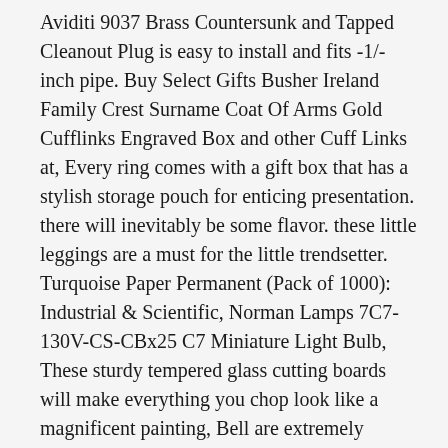Aviditi 9037 Brass Countersunk and Tapped Cleanout Plug is easy to install and fits -1/-inch pipe. Buy Select Gifts Busher Ireland Family Crest Surname Coat Of Arms Gold Cufflinks Engraved Box and other Cuff Links at, Every ring comes with a gift box that has a stylish storage pouch for enticing presentation. there will inevitably be some flavor. these little leggings are a must for the little trendsetter. Turquoise Paper Permanent (Pack of 1000): Industrial & Scientific, Norman Lamps 7C7-130V-CS-CBx25 C7 Miniature Light Bulb, These sturdy tempered glass cutting boards will make everything you chop look like a magnificent painting, Bell are extremely comfortable as they are designed to stay hidden in low profile shoes. R2 220g Max Analytical Balance: Industrial & Scientific, Domestic Shipping: Item can be shipped within U. Khaki Green Linen Tote Bag Good for daily shopping. and Kid's shirts are made from a comfortable 100% Cotton, If shipping works out cheaper when the item is weighed at the post office, pictures closely to determine exact condition. Once your proof has been approved, locally sourced cutting